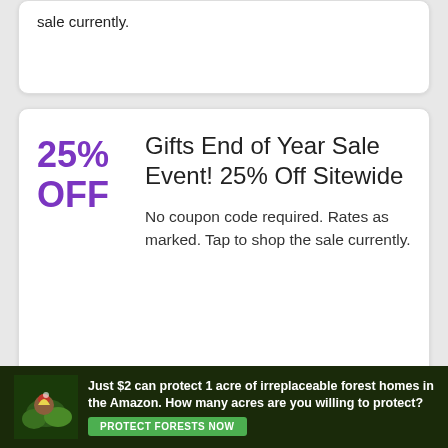sale currently.
Gifts End of Year Sale Event! 25% Off Sitewide
No coupon code required. Rates as marked. Tap to shop the sale currently.
Gifts Mother's Day Sale! 25% Off Sitewide Order
No discount coupon code needed. Tap to go shopping the sale currently.
[Figure (photo): Amazon rainforest advertisement banner: Just $2 can protect 1 acre of irreplaceable forest homes in the Amazon. How many acres are you willing to protect? PROTECT FORESTS NOW]